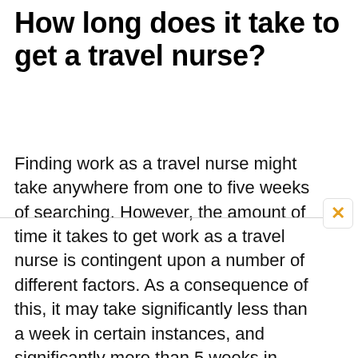How long does it take to get a travel nurse?
Finding work as a travel nurse might take anywhere from one to five weeks of searching. However, the amount of time it takes to get work as a travel nurse is contingent upon a number of different factors. As a consequence of this, it may take significantly less than a week in certain instances, and significantly more than 5 weeks in others.